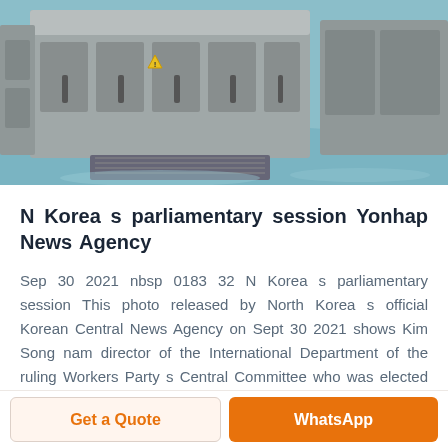[Figure (photo): Industrial machinery with metal cabinets and doors on a blue floor in a factory/cleanroom setting]
N Korea s parliamentary session Yonhap News Agency
Sep 30 2021 nbsp 0183 32 N Korea s parliamentary session This photo released by North Korea s official Korean Central News Agency on Sept 30 2021 shows Kim Song nam director of the International Department of the ruling Workers Party s Central Committee who was elected as a member of the
Get a Quote | WhatsApp